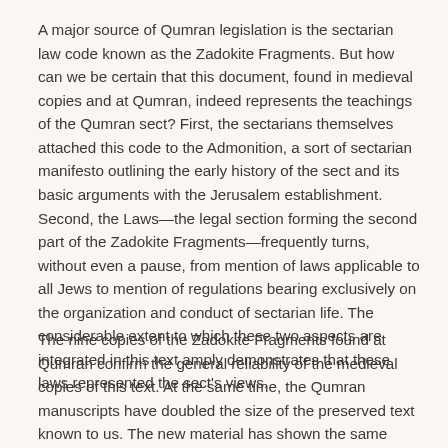A major source of Qumran legislation is the sectarian law code known as the Zadokite Fragments. But how can we be certain that this document, found in medieval copies and at Qumran, indeed represents the teachings of the Qumran sect? First, the sectarians themselves attached this code to the Admonition, a sort of sectarian manifesto outlining the early history of the sect and its basic arguments with the Jerusalem establishment. Second, the Laws—the legal section forming the second part of the Zadokite Fragments—frequently turns, without even a pause, from mention of laws applicable to all Jews to mention of regulations bearing exclusively on the organization and conduct of sectarian life. The considerable extent to which these two aspects are integrated in this text amply demonstrates that these laws represented the sect's views.
The nine copies of the Zadokite Fragments found at Qumran confirm the general reliability of the medieval copies of this text. At the same time, the Qumran manuscripts have doubled the size of the preserved text known to us. The new material has shown the same integration of halakhic and